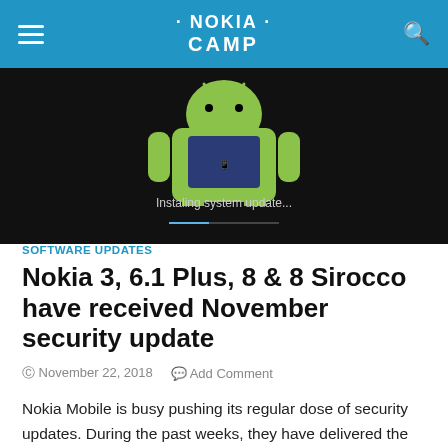NOKIA CAMP
[Figure (screenshot): Android robot mascot on a black background with text 'Installing system update...' and a blue progress bar below]
SOFTWARE UPDATES
Nokia 3, 6.1 Plus, 8 & 8 Sirocco have received November security update
November 22, 2018   Add Comment
Nokia Mobile is busy pushing its regular dose of security updates. During the past weeks, they have delivered the newest security patch to several of their…